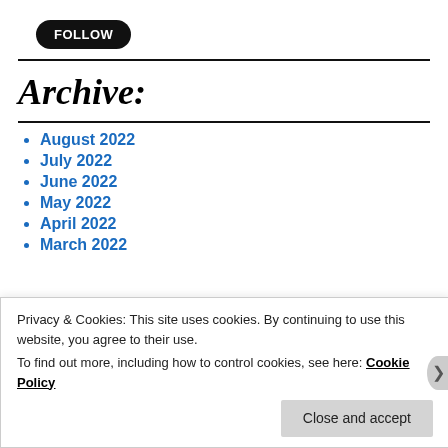[Figure (other): Black rounded rectangle button with white bold text FOLLOW]
Archive:
August 2022
July 2022
June 2022
May 2022
April 2022
March 2022
Privacy & Cookies: This site uses cookies. By continuing to use this website, you agree to their use.
To find out more, including how to control cookies, see here: Cookie Policy
Close and accept